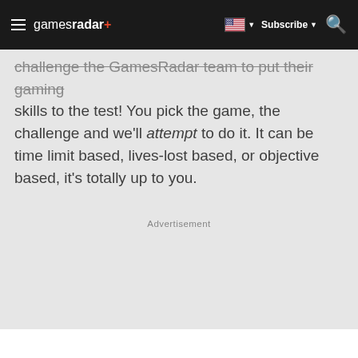gamesradar+ | Subscribe | Search
challenge the GamesRadar team to put their gaming skills to the test! You pick the game, the challenge and we'll attempt to do it. It can be time limit based, lives-lost based, or objective based, it's totally up to you.
Advertisement